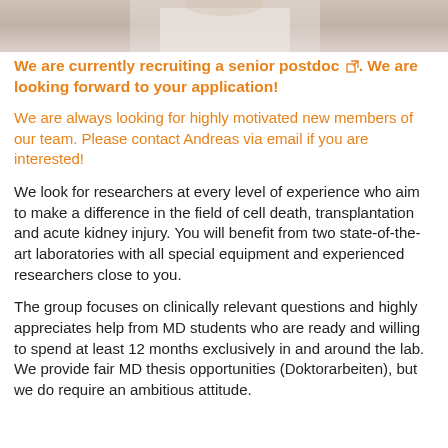[Figure (photo): Top portion of a photo showing a person in a white lab coat or medical setting, cropped to just the upper portion.]
We are currently recruiting a senior postdoc ↗. We are looking forward to your application!
We are always looking for highly motivated new members of our team. Please contact Andreas via email if you are interested!
We look for researchers at every level of experience who aim to make a difference in the field of cell death, transplantation and acute kidney injury. You will benefit from two state-of-the-art laboratories with all special equipment and experienced researchers close to you.
The group focuses on clinically relevant questions and highly appreciates help from MD students who are ready and willing to spend at least 12 months exclusively in and around the lab. We provide fair MD thesis opportunities (Doktorarbeiten), but we do require an ambitious attitude.